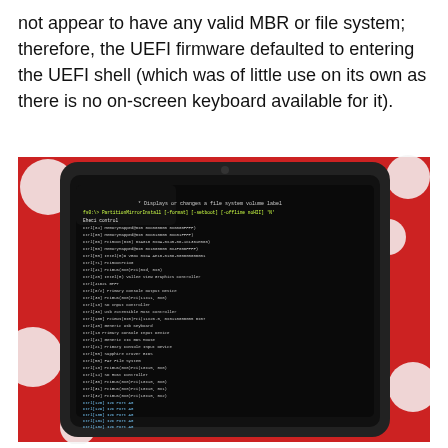not appear to have any valid MBR or file system; therefore, the UEFI firmware defaulted to entering the UEFI shell (which was of little use on its own as there is no on-screen keyboard available for it).
[Figure (photo): A tablet device propped on a red polka-dot tablecloth, displaying a UEFI shell boot log with green/white monospace text listing controller initializations (Ctrl, SD Host Controller, USB, I2C Port entries) on a black screen.]